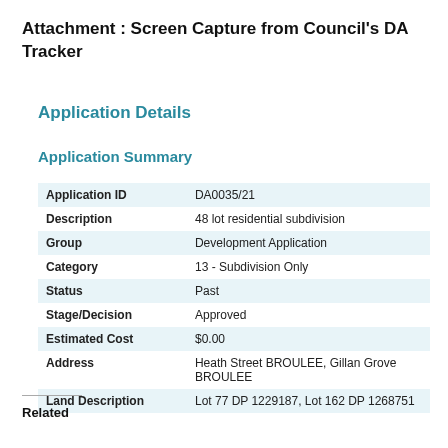Attachment : Screen Capture from Council's DA Tracker
Application Details
Application Summary
| Field | Value |
| --- | --- |
| Application ID | DA0035/21 |
| Description | 48 lot residential subdivision |
| Group | Development Application |
| Category | 13 - Subdivision Only |
| Status | Past |
| Stage/Decision | Approved |
| Estimated Cost | $0.00 |
| Address | Heath Street BROULEE, Gillan Grove BROULEE |
| Land Description | Lot 77 DP 1229187, Lot 162 DP 1268751 |
Related